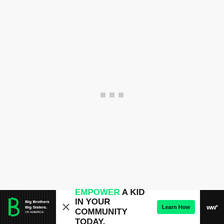[Figure (other): Loading state with three small gray square dots centered on a light gray background]
[Figure (infographic): Advertisement banner: Big Brothers Big Sisters of America logo on left dark background with grid lines, center white area with text 'EMPOWER A KID IN YOUR COMMUNITY TODAY.' with green Learn How button and X close button, right side dark background with Wordmark 'w°']